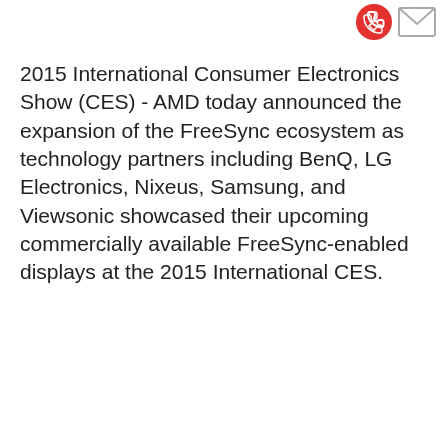[Figure (other): Red phone icon and grey envelope/mail icon in the top-right corner]
2015 International Consumer Electronics Show (CES) - AMD today announced the expansion of the FreeSync ecosystem as technology partners including BenQ, LG Electronics, Nixeus, Samsung, and Viewsonic showcased their upcoming commercially available FreeSync-enabled displays at the 2015 International CES.
ADVERTISEMENT